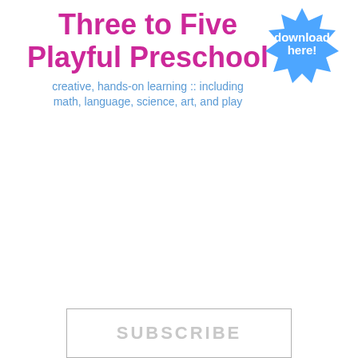Three to Five Playful Preschool
creative, hands-on learning :: including math, language, science, art, and play
[Figure (other): Blue starburst/badge shape with white text reading 'download here!']
SUBSCRIBE